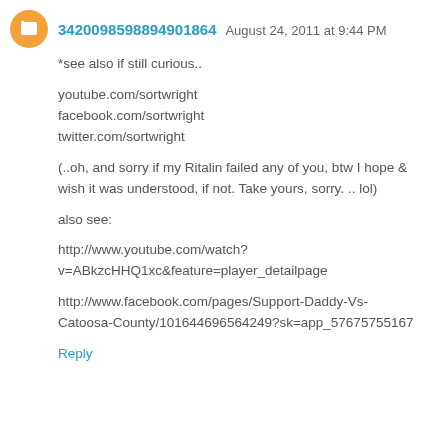3420098598894901864  August 24, 2011 at 9:44 PM
*see also if still curious..

youtube.com/sortwright
facebook.com/sortwright
twitter.com/sortwright

(..oh, and sorry if my Ritalin failed any of you, btw I hope & wish it was understood, if not. Take yours, sorry. .. lol)

also see:

http://www.youtube.com/watch?v=ABkzcHHQ1xc&feature=player_detailpage

http://www.facebook.com/pages/Support-Daddy-Vs-Catoosa-County/101644696564249?sk=app_576757551671
Reply